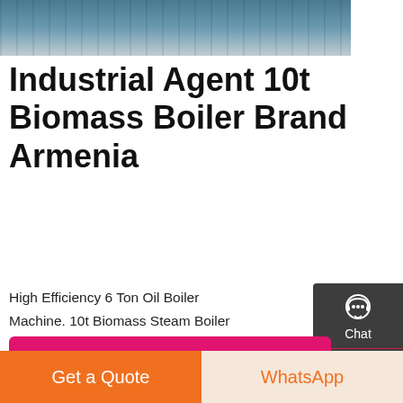[Figure (photo): Partial view of industrial machinery or boiler equipment, photographed in a factory setting with blue-grey tones.]
Industrial Agent 10t Biomass Boiler Brand Armenia
High Efficiency 6 Ton Oil Boiler Machine. 10t Biomass Steam Boiler Industrial Agent Price Kazakhstan 10t oil boiler factory price commercial armenia -Gas fired 10t Oil Steam Boiler Armenia. 10t Price boiler Energy Saving Indonesia. 10t h wood pellet steam boiler - bistroflavors. 10t/h Wood Coal Fired
Get A Quote
Get a Quote
WhatsApp